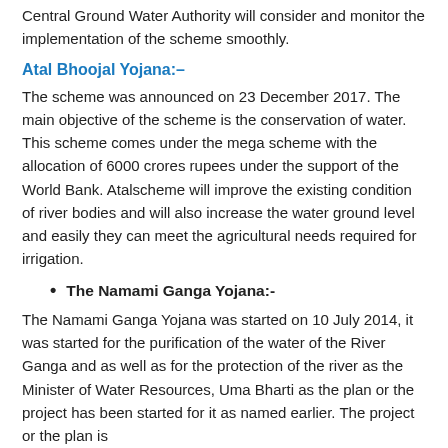Central Ground Water Authority will consider and monitor the implementation of the scheme smoothly.
Atal Bhoojal Yojana:–
The scheme was announced on 23 December 2017. The main objective of the scheme is the conservation of water. This scheme comes under the mega scheme with the allocation of 6000 crores rupees under the support of the World Bank. Atalscheme will improve the existing condition of river bodies and will also increase the water ground level and easily they can meet the agricultural needs required for irrigation.
The Namami Ganga Yojana:-
The Namami Ganga Yojana was started on 10 July 2014, it was started for the purification of the water of the River Ganga and as well as for the protection of the river as the Minister of Water Resources, Uma Bharti as the plan or the project has been started for it as named earlier. The project or the plan is